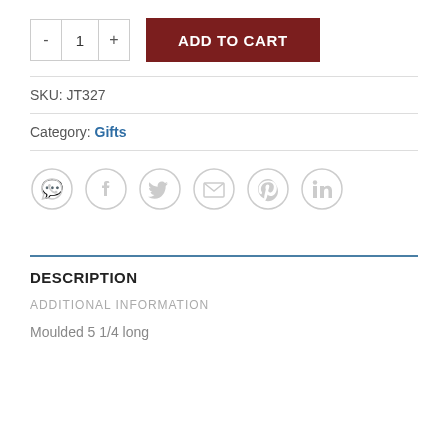- 1 + ADD TO CART
SKU: JT327
Category: Gifts
[Figure (other): Social sharing icons: WhatsApp, Facebook, Twitter, Email, Pinterest, LinkedIn — circular grey outline icons]
DESCRIPTION
ADDITIONAL INFORMATION
Moulded 5 1/4 long